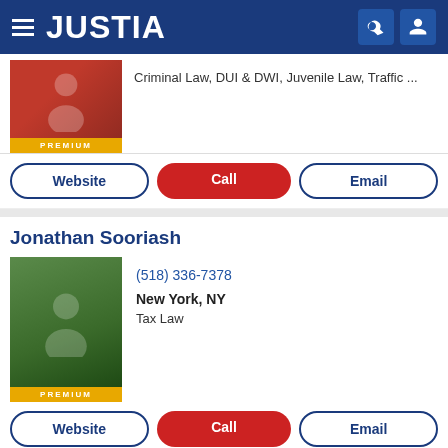[Figure (screenshot): Justia website header with logo, hamburger menu, search and profile icons on dark blue background]
Criminal Law, DUI & DWI, Juvenile Law, Traffic ...
PREMIUM
Website
Call
Email
Jonathan Sooriash
(518) 336-7378
New York, NY
Tax Law
PREMIUM
Website
Call
Email
Steven M. Frei
(703) 925-0500